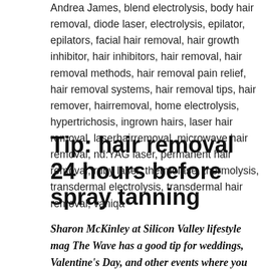Andrea James, blend electrolysis, body hair removal, diode laser, electrolysis, epilator, epilators, facial hair removal, hair growth inhibitor, hair inhibitors, hair removal, hair removal methods, hair removal pain relief, hair removal systems, hair removal tips, hair remover, hairremoval, home electrolysis, hypertrichosis, ingrown hairs, laser hair removal, laserhairremoval, microwave hair removal, nd:YAG laser, permanent hair removal, ruby laser, thermolase, thermolysis, transdermal electrolysis, transdermal hair removal, vaniqa
Tip: hair removal 24 hours before spray tanning
Sharon McKinley at Silicon Valley lifestyle mag The Wave has a good tip for weddings, Valentine's Day, and other events where you plan to get both hair